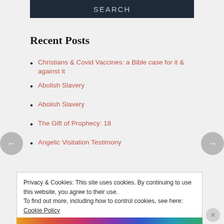SEARCH
Recent Posts
Christians & Covid Vaccines: a Bible case for it & against it
Abolish Slavery
Abolish Slavery
The Gift of Prophecy: 18
Angelic Visitation Testimony
Recent Comments
Privacy & Cookies: This site uses cookies. By continuing to use this website, you agree to their use.
To find out more, including how to control cookies, see here: Cookie Policy
Close and accept